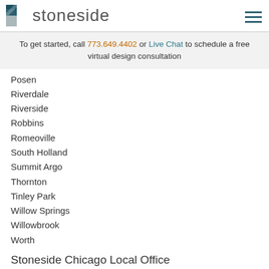[Figure (logo): Stoneside logo with geometric icon and wordmark]
To get started, call 773.649.4402 or Live Chat to schedule a free virtual design consultation
Posen
Riverdale
Riverside
Robbins
Romeoville
South Holland
Summit Argo
Thornton
Tinley Park
Willow Springs
Willowbrook
Worth
Stoneside Chicago Local Office
Stoneside Chicago
980 North Michigan Avenue